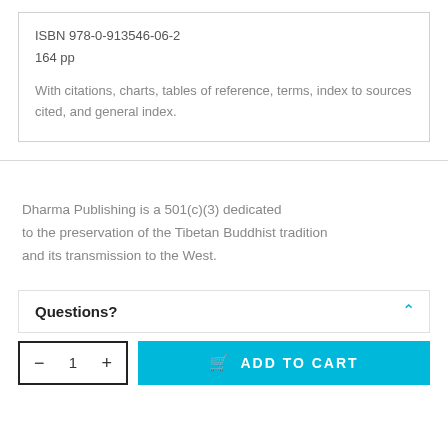ISBN 978-0-913546-06-2
164 pp
With citations, charts, tables of reference, terms, index to sources cited, and general index.
Dharma Publishing is a 501(c)(3) dedicated to the preservation of the Tibetan Buddhist tradition and its transmission to the West.
Questions?
1
ADD TO CART